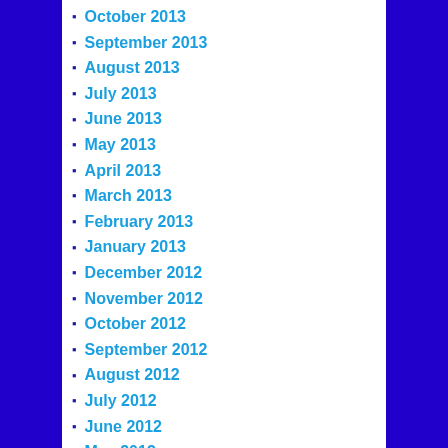October 2013
September 2013
August 2013
July 2013
June 2013
May 2013
April 2013
March 2013
February 2013
January 2013
December 2012
November 2012
October 2012
September 2012
August 2012
July 2012
June 2012
May 2012
April 2012
March 2012
February 2012